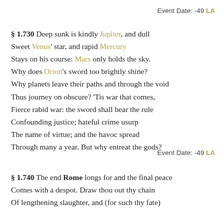Event Date: -49 LA
§ 1.730  Deep sunk is kindly Jupiter, and dull
Sweet Venus' star, and rapid Mercury
Stays on his course: Mars only holds the sky.
Why does Orion's sword too brightly shine?
Why planets leave their paths and through the void
Thus journey on obscure? 'Tis war that comes,
Fierce rabid war: the sword shall bear the rule
Confounding justice; hateful crime usurp
The name of virtue; and the havoc spread
Through many a year. But why entreat the gods?
Event Date: -49 LA
§ 1.740  The end Rome longs for and the final peace
Comes with a despot. Draw thou out thy chain
Of lengthening slaughter, and (for such thy fate)